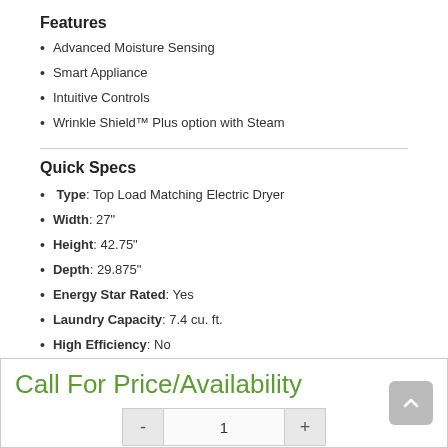Features
Advanced Moisture Sensing
Smart Appliance
Intuitive Controls
Wrinkle Shield™ Plus option with Steam
Quick Specs
Type: Top Load Matching Electric Dryer
Width: 27"
Height: 42.75"
Depth: 29.875"
Energy Star Rated: Yes
Laundry Capacity: 7.4 cu. ft.
High Efficiency: No
WiFi Connected: Yes
See More
Call For Price/Availability
- 1 +